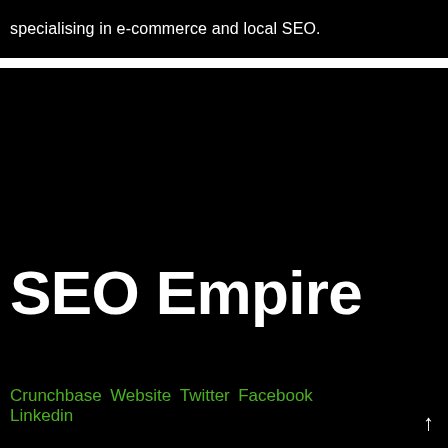specialising in e-commerce and local SEO.
SEO Empire
Crunchbase Website Twitter Facebook Linkedin
Melbourne Based SEO Experts. One of Melbourne's leading agencies who work with some of Australia's biggest brands.